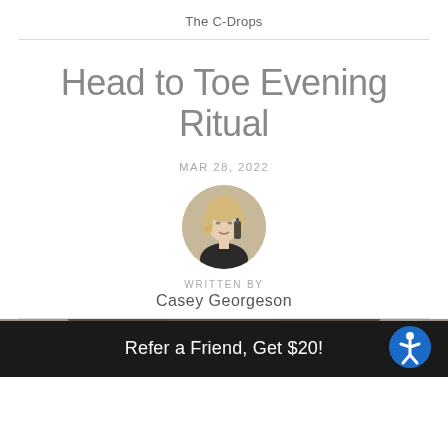The C-Drops
Head to Toe Evening Ritual
MAR 28, 2022
[Figure (photo): Circular portrait photo of author Casey Georgeson holding a product bottle]
WRITTEN BY
Casey Georgeson
[Figure (photo): Partial photo strip showing a person's face/head at the bottom of the article header]
Refer a Friend, Get $20!